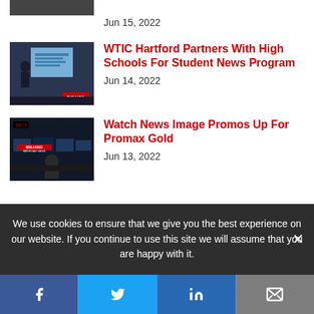Jun 15, 2022
[Figure (photo): FOX61 studio presentation with person and screen]
WTIC Hartford Partners With High Schools For Student News Program
Jun 14, 2022
[Figure (photo): News broadcast control room with screens showing breaking news]
Watch News Image Promos Up For Promax Gold
Jun 13, 2022
We use cookies to ensure that we give you the best experience on our website. If you continue to use this site we will assume that you are happy with it.